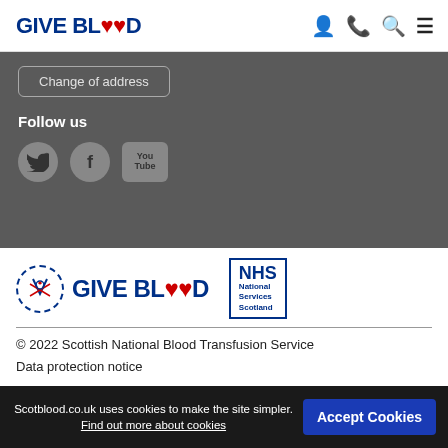GIVE BLOOD
Change of address
Follow us
[Figure (other): Social media icons: Twitter (bird), Facebook (f), YouTube]
[Figure (logo): Give Blood Scotland logo with Scotblood circle emblem and NHS National Services Scotland logo]
© 2022 Scottish National Blood Transfusion Service
Data protection notice
Privacy and cookies
Terms and conditions
Scotblood.co.uk uses cookies to make the site simpler. Find out more about cookies
Accept Cookies